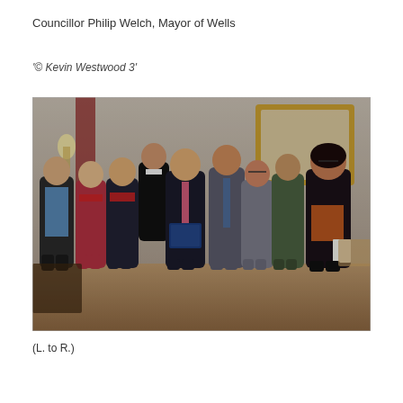Councillor Philip Welch, Mayor of Wells
'© Kevin Westwood 3'
[Figure (photo): Group photo of approximately ten people standing together in an interior room with warm lighting. A man in the centre is holding a blue book or binder. People are dressed in smart-casual and formal attire. A gold-framed mirror and wall sconces are visible in the background.]
(L. to R.)